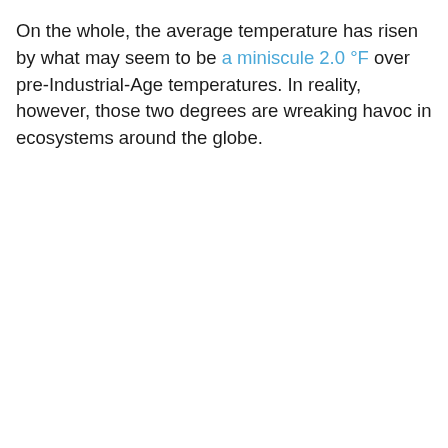On the whole, the average temperature has risen by what may seem to be a miniscule 2.0 °F over pre-Industrial-Age temperatures. In reality, however, those two degrees are wreaking havoc in ecosystems around the globe.